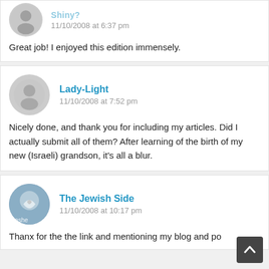[Figure (other): Generic user avatar (gray circle with person silhouette) and commenter metadata for first comment]
11/10/2008 at 6:37 pm
Great job! I enjoyed this edition immensely.
Lady-Light
11/10/2008 at 7:52 pm
Nicely done, and thank you for including my articles. Did I actually submit all of them? After learning of the birth of my new (Israeli) grandson, it's all a blur.
[Figure (other): The Jewish Side avatar (decorative circular image with heart motif) and commenter metadata]
The Jewish Side
11/10/2008 at 10:17 pm
Thanx for the the link and mentioning my blog and po